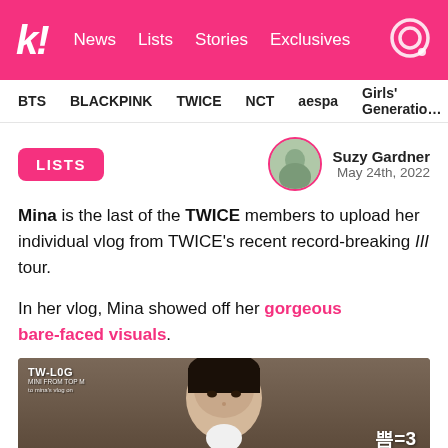Koreaboo — News | Lists | Stories | Exclusives
BTS | BLACKPINK | TWICE | NCT | aespa | Girls' Generation
LISTS
Suzy Gardner
May 24th, 2022
Mina is the last of the TWICE members to upload her individual vlog from TWICE's recent record-breaking III tour.
In her vlog, Mina showed off her gorgeous bare-faced visuals.
[Figure (screenshot): Video thumbnail showing a woman's face (Mina from TWICE) in a vlog titled TW-LOG, with Korean text overlay reading 쁨=3]